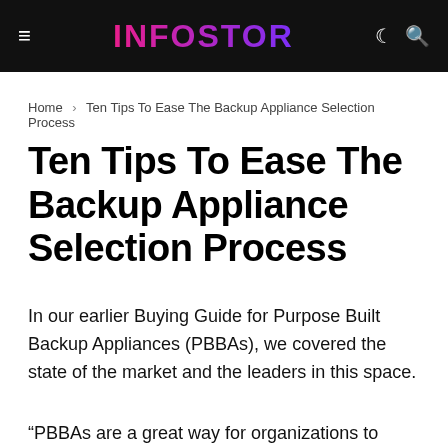INFOSTOR
Home > Ten Tips To Ease The Backup Appliance Selection Process
Ten Tips To Ease The Backup Appliance Selection Process
In our earlier Buying Guide for Purpose Built Backup Appliances (PBBAs), we covered the state of the market and the leaders in this space.
“PBBAs are a great way for organizations to streamline...